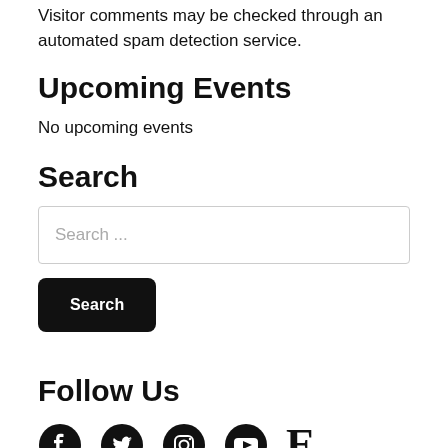Visitor comments may be checked through an automated spam detection service.
Upcoming Events
No upcoming events
Search
[Figure (other): Search input field with placeholder text 'Search ...']
[Figure (other): Black Search button]
Follow Us
[Figure (other): Social media icons: Facebook, Twitter, Instagram, YouTube, Etsy]
ABOUT   CLASSES   PATTERNS   RESOURCES   SHOP